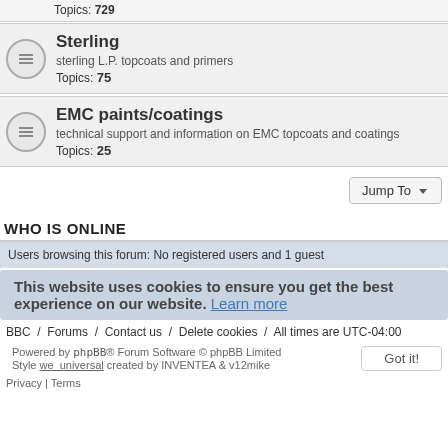Topics: 729
Sterling
sterling L.P. topcoats and primers
Topics: 75
EMC paints/coatings
technical support and information on EMC topcoats and coatings
Topics: 25
WHO IS ONLINE
Users browsing this forum: No registered users and 1 guest
This website uses cookies to ensure you get the best experience on our website. Learn more
BBC / Forums / Contact us / Delete cookies / All times are UTC-04:00
Powered by phpBB® Forum Software © phpBB Limited
Style we_universal created by INVENTEA & v12mike
Privacy | Terms